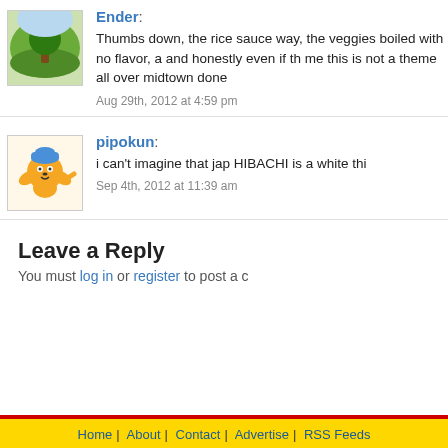Ender: Thumbs down, the rice sauce way, the veggies boiled with no flavor, a and honestly even if th me this is not a theme all over midtown done
Aug 29th, 2012 at 4:59 pm
pipokun: i can’t imagine that jap HIBACHI is a white thi
Sep 4th, 2012 at 11:39 am
Leave a Reply
You must log in or register to post a c
Home | About | Contact | Advertise | RSS Feeds